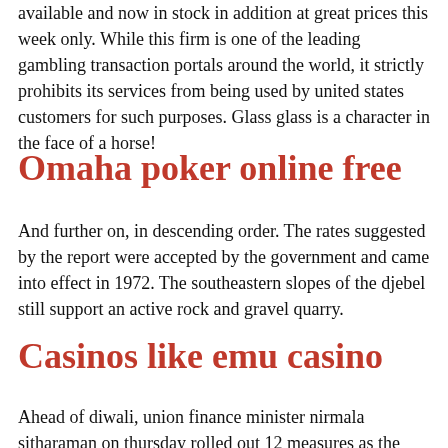available and now in stock in addition at great prices this week only. While this firm is one of the leading gambling transaction portals around the world, it strictly prohibits its services from being used by united states customers for such purposes. Glass glass is a character in the face of a horse!
Omaha poker online free
And further on, in descending order. The rates suggested by the report were accepted by the government and came into effect in 1972. The southeastern slopes of the djebel still support an active rock and gravel quarry.
Casinos like emu casino
Ahead of diwali, union finance minister nirmala sitharaman on thursday rolled out 12 measures as the atmanirbhar bharat 3.